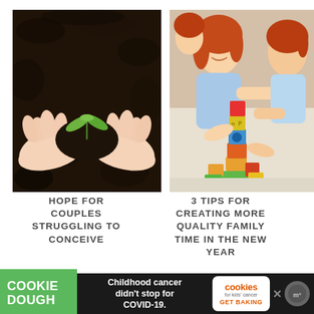[Figure (photo): Hands cupping a young green seedling in dark soil, viewed from above]
[Figure (photo): Mother and two red-haired children playing with colorful wooden building blocks]
HOPE FOR COUPLES STRUGGLING TO CONCEIVE
3 TIPS FOR CREATING MORE QUALITY FAMILY TIME IN THE NEW YEAR
[Figure (infographic): Cookie Dough advertisement bar: green COOKIE DOUGH logo on left, white text 'Childhood cancer didn't stop for COVID-19.' in center, cookies for kids' cancer badge with 'GET BAKING' on right, X close button and circular icon on far right]